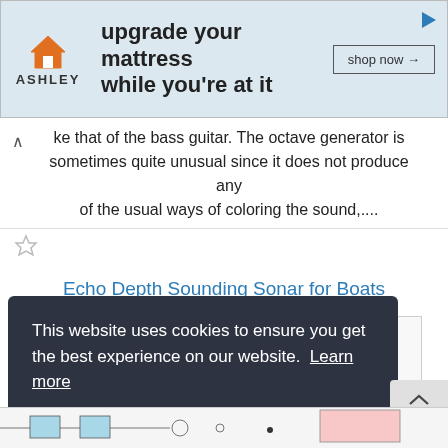[Figure (screenshot): Ashley Furniture advertisement banner: logo with house icon and 'ASHLEY' text, headline 'upgrade your mattress while you're at it', shop now button, play icon top right.]
ke that of the bass guitar. The octave generator is sometimes quite unusual since it does not produce any of the usual ways of coloring the sound,....
Echo Depth Sounding Sonar for Boats
[Figure (circuit-diagram): Partial view of Echo Depth Sounding Sonar circuit diagram with 12V supply labels, component blocks in cyan and pink, transistors, resistors.]
This website uses cookies to ensure you get the best experience on our website. Learn more
[Figure (screenshot): Got it! cookie consent button in green.]